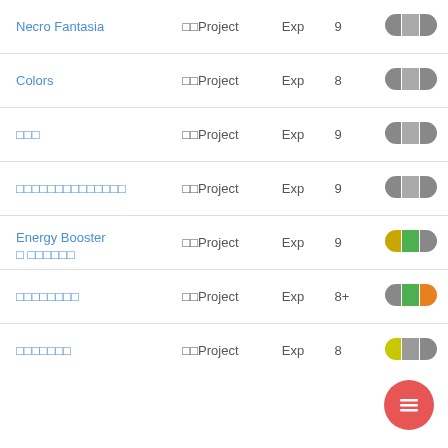| Name | Type | Exp | Level | Badge |
| --- | --- | --- | --- | --- |
| Necro Fantasia | □□Project | Exp | 9 | gray pill |
| Colors | □□Project | Exp | 8 | gray pill |
| □□□ | □□Project | Exp | 9 | gray pill |
| □□□□□□□□□□□□□□ | □□Project | Exp | 9 | gray pill |
| Energy Booster □ □□□□□□ | □□Project | Exp | 9 | yellow-green-gray pill |
| □□□□□□□□ | □□Project | Exp | 8+ | gray-green-orange pill |
| □□□□□□□ | □□Project | Exp | 8 | yellow-gray pill |